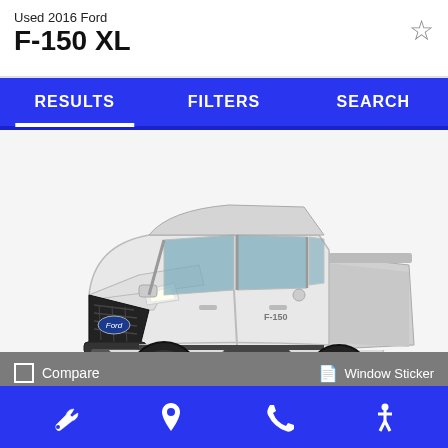Used 2016 Ford F-150 XL
RESULTS   FILTERS   SEARCH
[Figure (photo): White 2016 Ford F-150 XL pickup truck, angled front-left view on white background]
Compare    Window Sticker
Ext: Int: M   Trade or Sell?   Start Pre-Order
Bottom navigation bar with wrench, location pin, phone, and accessibility icons